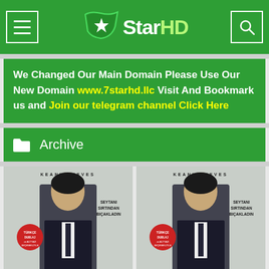7StarHD — website header with menu and search
We Changed Our Main Domain Please Use Our New Domain www.7starhd.llc Visit And Bookmark us and Join our telegram channel Click Here
Archive
[Figure (photo): John Wick movie poster — Keanu Reeves in suit with text KEANU REEVES, SEYTANI SIRTINDAN BICAKLADIN, JOHN WICK, Turkish dubbing badge]
[Figure (photo): John Wick movie poster (duplicate) — Keanu Reeves in suit with text KEANU REEVES, SEYTANI SIRTINDAN BICAKLADIN, JOHN WICK, Turkish dubbing badge]